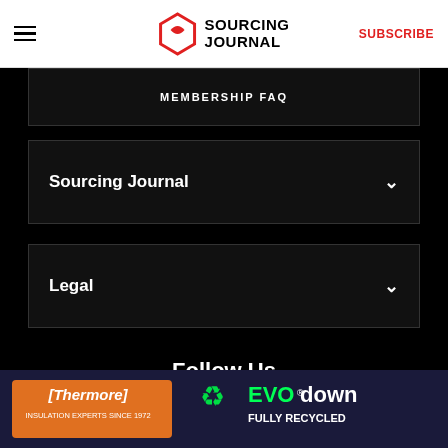Sourcing Journal — SUBSCRIBE
MEMBERSHIP FAQ
Sourcing Journal
Legal
Follow Us
[Figure (infographic): Social media icons: Facebook, Twitter, Instagram, LinkedIn]
[Figure (infographic): Thermore EVO down ad banner — Insulation Experts Since 1972, Fully Recycled]